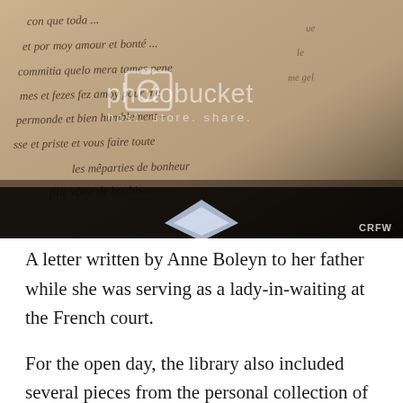[Figure (photo): Photograph of an old handwritten manuscript (a letter by Anne Boleyn to her father) under glass with a Photobucket watermark overlay and a diamond-shaped glare reflection at the bottom. A 'CRFW' badge is in the lower right corner.]
A letter written by Anne Boleyn to her father while she was serving as a lady-in-waiting at the French court.
For the open day, the library also included several pieces from the personal collection of Dr. John C. Taylor, who designed the Corpus Clock.